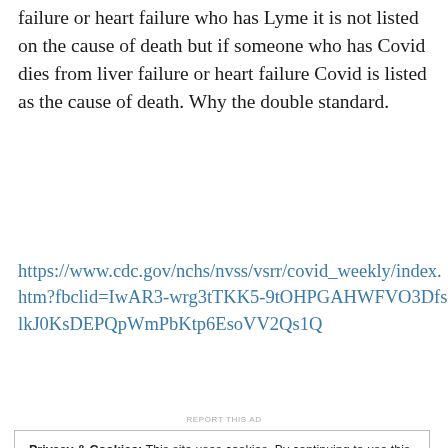failure or heart failure who has Lyme it is not listed on the cause of death but if someone who has Covid dies from liver failure or heart failure Covid is listed as the cause of death. Why the double standard.
https://www.cdc.gov/nchs/nvss/vsrr/covid_weekly/index.htm?fbclid=IwAR3-wrg3tTKK5-9tOHPGAHWFVO3DfslkJ0KsDEPQpWmPbKtp6EsoVV2Qs1Q
REPORT THIS AD
Privacy & Cookies: This site uses cookies. By continuing to use this website, you agree to their use.
To find out more, including how to control cookies, see here: Cookie Policy
Close and accept